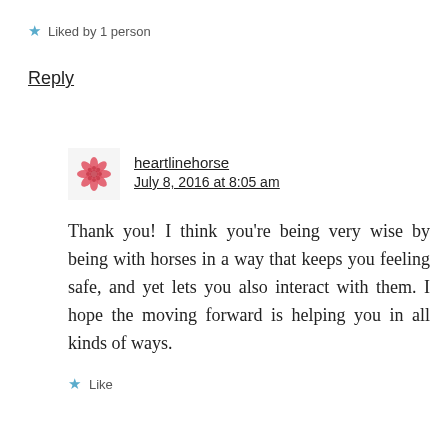★ Liked by 1 person
Reply
heartlinehorse
July 8, 2016 at 8:05 am
Thank you! I think you're being very wise by being with horses in a way that keeps you feeling safe, and yet lets you also interact with them. I hope the moving forward is helping you in all kinds of ways.
★ Like